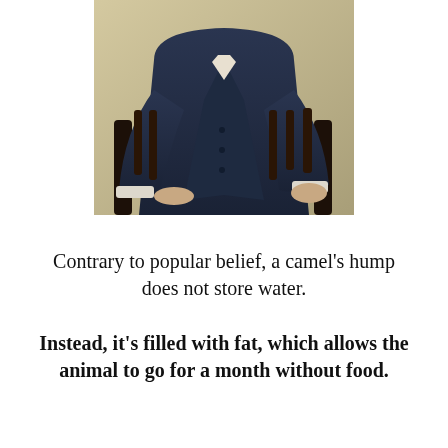[Figure (photo): A man in a dark navy double-breasted suit seated in a dark wooden chair, cropped so the head is not visible, showing the torso and hands resting on the lap.]
Contrary to popular belief, a camel's hump does not store water.
Instead, it's filled with fat, which allows the animal to go for a month without food.